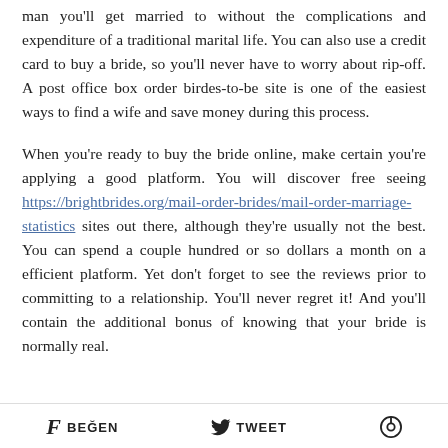man you'll get married to without the complications and expenditure of a traditional marital life. You can also use a credit card to buy a bride, so you'll never have to worry about rip-off. A post office box order birdes-to-be site is one of the easiest ways to find a wife and save money during this process.
When you're ready to buy the bride online, make certain you're applying a good platform. You will discover free seeing https://brightbrides.org/mail-order-brides/mail-order-marriage-statistics sites out there, although they're usually not the best. You can spend a couple hundred or so dollars a month on a efficient platform. Yet don't forget to see the reviews prior to committing to a relationship. You'll never regret it! And you'll contain the additional bonus of knowing that your bride is normally real.
BEĞEN   TWEET   [Pinterest]